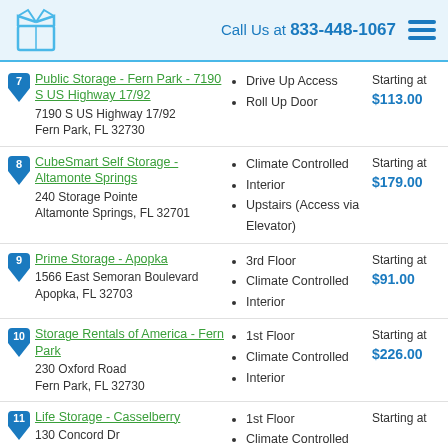Call Us at 833-448-1067
7. Public Storage - Fern Park - 7190 S US Highway 17/92 | 7190 S US Highway 17/92, Fern Park, FL 32730 | Drive Up Access, Roll Up Door | Starting at $113.00
8. CubeSmart Self Storage - Altamonte Springs | 240 Storage Pointe, Altamonte Springs, FL 32701 | Climate Controlled, Interior, Upstairs (Access via Elevator) | Starting at $179.00
9. Prime Storage - Apopka | 1566 East Semoran Boulevard, Apopka, FL 32703 | 3rd Floor, Climate Controlled, Interior | Starting at $91.00
10. Storage Rentals of America - Fern Park | 230 Oxford Road, Fern Park, FL 32730 | 1st Floor, Climate Controlled, Interior | Starting at $226.00
11. Life Storage - Casselberry | 130 Concord Dr | 1st Floor, Climate Controlled, Interior | Starting at